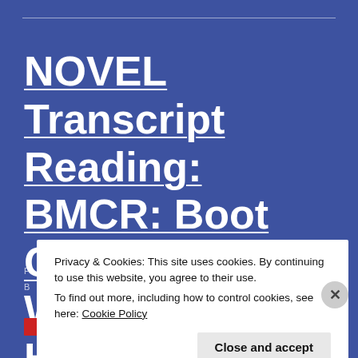NOVEL Transcript Reading: BMCR: Boot Camp, by Wulfric Howlietzer
Privacy & Cookies: This site uses cookies. By continuing to use this website, you agree to their use. To find out more, including how to control cookies, see here: Cookie Policy
Close and accept